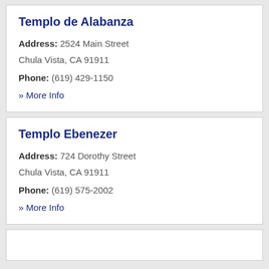Templo de Alabanza
Address: 2524 Main Street
Chula Vista, CA 91911
Phone: (619) 429-1150
» More Info
Templo Ebenezer
Address: 724 Dorothy Street
Chula Vista, CA 91911
Phone: (619) 575-2002
» More Info